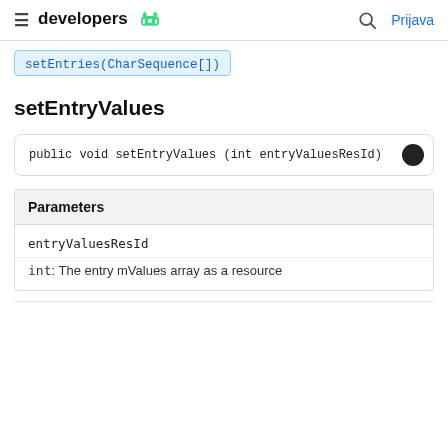developers | Prijava
setEntries(CharSequence[])
setEntryValues
| Parameters |
| --- |
| entryValuesResId | int: The entry mValues array as a resource |